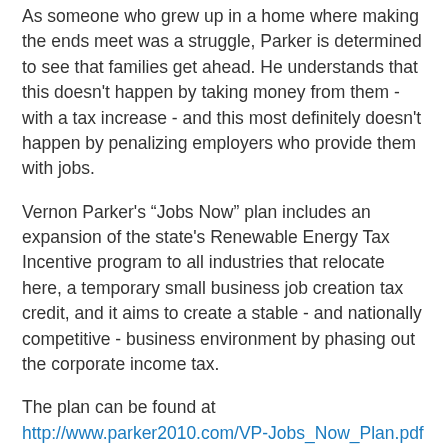As someone who grew up in a home where making the ends meet was a struggle, Parker is determined to see that families get ahead. He understands that this doesn't happen by taking money from them - with a tax increase - and this most definitely doesn't happen by penalizing employers who provide them with jobs.
Vernon Parker's “Jobs Now” plan includes an expansion of the state's Renewable Energy Tax Incentive program to all industries that relocate here, a temporary small business job creation tax credit, and it aims to create a stable - and nationally competitive - business environment by phasing out the corporate income tax.
The plan can be found at http://www.parker2010.com/VP-Jobs_Now_Plan.pdf
“Arizona cannot tax its way out of this recession, nor can we tax our way into prosperity,” Parker said. “We have to create an environment where businesses are freed-up to do what they do best: create jobs and grow our economy. My ‘Jobs Now’ plan is a pathway back to prosperity and should be